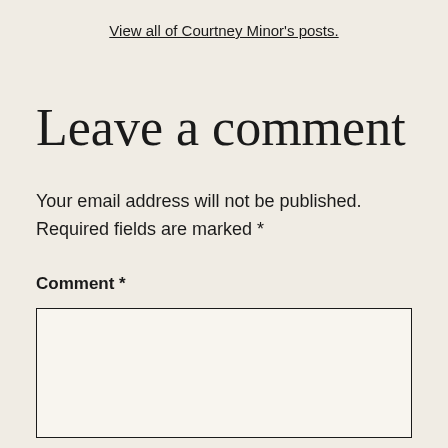View all of Courtney Minor's posts.
Leave a comment
Your email address will not be published. Required fields are marked *
Comment *